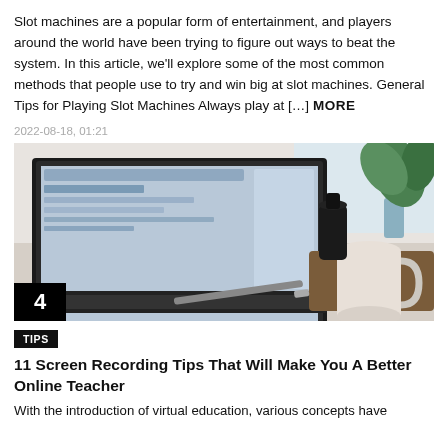Slot machines are a popular form of entertainment, and players around the world have been trying to figure out ways to beat the system. In this article, we'll explore some of the most common methods that people use to try and win big at slot machines. General Tips for Playing Slot Machines Always play at [...] MORE
2022-08-18, 01:21
[Figure (photo): A laptop on a desk with a mug, pen, and plant in the background. Number badge '4' in bottom-left corner.]
TIPS
11 Screen Recording Tips That Will Make You A Better Online Teacher
With the introduction of virtual education, various concepts have